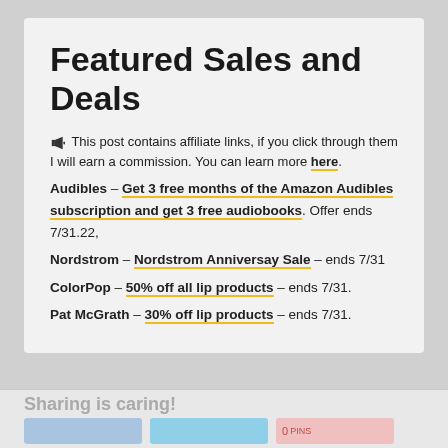Featured Sales and Deals
🔔 This post contains affiliate links, if you click through them I will earn a commission. You can learn more here.
Audibles – Get 3 free months of the Amazon Audibles subscription and get 3 free audiobooks. Offer ends 7/31.22,
Nordstrom – Nordstrom Anniversay Sale – ends 7/31
ColorPop – 50% off all lip products – ends 7/31.
Pat McGrath – 30% off lip products – ends 7/31.
Sharing is caring!